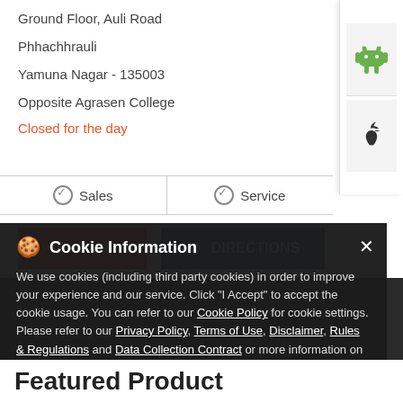Ground Floor, Auli Road
Phhachhrauli
Yamuna Nagar - 135003
Opposite Agrasen College
Closed for the day
✓ Sales
✓ Service
CALL
DIRECTIONS
Cookie Information
We use cookies (including third party cookies) in order to improve your experience and our service. Click "I Accept" to accept the cookie usage. You can refer to our Cookie Policy for cookie settings. Please refer to our Privacy Policy, Terms of Use, Disclaimer, Rules & Regulations and Data Collection Contract or more information on personal data usage.
I ACCEPT
Featured Product